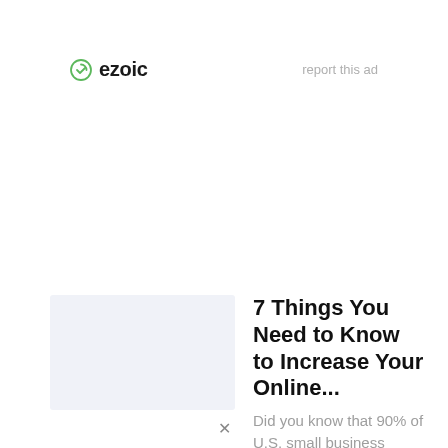[Figure (logo): Ezoic logo with green circle check icon and bold 'ezoic' text]
report this ad
[Figure (illustration): Light blue-gray rectangular placeholder thumbnail image]
7 Things You Need to Know to Increase Your Online...
Did you know that 90% of U.S. small business startups go under at or before...